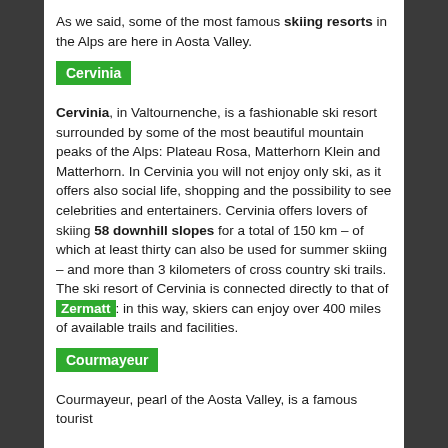As we said, some of the most famous skiing resorts in the Alps are here in Aosta Valley.
Cervinia
Cervinia, in Valtournenche, is a fashionable ski resort surrounded by some of the most beautiful mountain peaks of the Alps: Plateau Rosa, Matterhorn Klein and Matterhorn. In Cervinia you will not enjoy only ski, as it offers also social life, shopping and the possibility to see celebrities and entertainers. Cervinia offers lovers of skiing 58 downhill slopes for a total of 150 km – of which at least thirty can also be used for summer skiing – and more than 3 kilometers of cross country ski trails. The ski resort of Cervinia is connected directly to that of Zermatt: in this way, skiers can enjoy over 400 miles of available trails and facilities.
Courmayeur
Courmayeur, pearl of the Aosta Valley, is a famous tourist